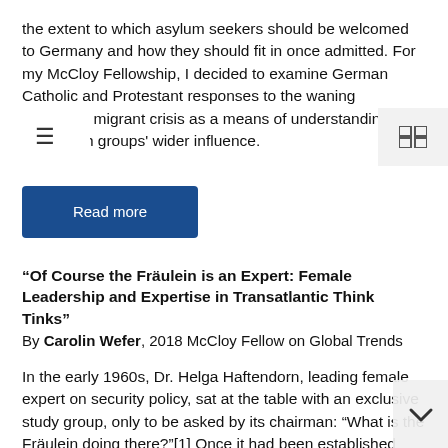the extent to which asylum seekers should be welcomed to Germany and how they should fit in once admitted. For my McCloy Fellowship, I decided to examine German Catholic and Protestant responses to the waning European migrant crisis as a means of understanding these faith groups' wider influence.
Read more
“Of Course the Fräulein is an Expert: Female Leadership and Expertise in Transatlantic Think Tinks”
By Carolin Wefer, 2018 McCloy Fellow on Global Trends
In the early 1960s, Dr. Helga Haftendorn, leading female expert on security policy, sat at the table with an exclusive study group, only to be asked by its chairman: “What is the Fräulein doing there?”[1] Once it had been established that Dr. Haftendorn was indeed an expert she was accepted to remain at the table—but